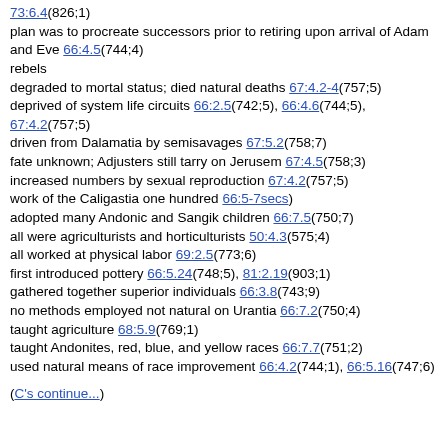73:6.4(826;1)
plan was to procreate successors prior to retiring upon arrival of Adam and Eve 66:4.5(744;4)
rebels
degraded to mortal status; died natural deaths 67:4.2-4(757;5)
deprived of system life circuits 66:2.5(742;5), 66:4.6(744;5), 67:4.2(757;5)
driven from Dalamatia by semisavages 67:5.2(758;7)
fate unknown; Adjusters still tarry on Jerusem 67:4.5(758;3)
increased numbers by sexual reproduction 67:4.2(757;5)
work of the Caligastia one hundred 66:5-7secs)
adopted many Andonic and Sangik children 66:7.5(750;7)
all were agriculturists and horticulturists 50:4.3(575;4)
all worked at physical labor 69:2.5(773;6)
first introduced pottery 66:5.24(748;5), 81:2.19(903;1)
gathered together superior individuals 66:3.8(743;9)
no methods employed not natural on Urantia 66:7.2(750;4)
taught agriculture 68:5.9(769;1)
taught Andonites, red, blue, and yellow races 66:7.7(751;2)
used natural means of race improvement 66:4.2(744;1), 66:5.16(747;6)
(C's continue...)